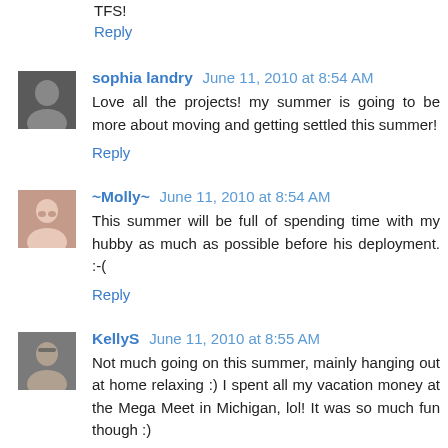TFS!
Reply
sophia landry  June 11, 2010 at 8:54 AM
Love all the projects! my summer is going to be more about moving and getting settled this summer!
Reply
~Molly~  June 11, 2010 at 8:54 AM
This summer will be full of spending time with my hubby as much as possible before his deployment. :-(
Reply
KellyS  June 11, 2010 at 8:55 AM
Not much going on this summer, mainly hanging out at home relaxing :) I spent all my vacation money at the Mega Meet in Michigan, lol! It was so much fun though :)